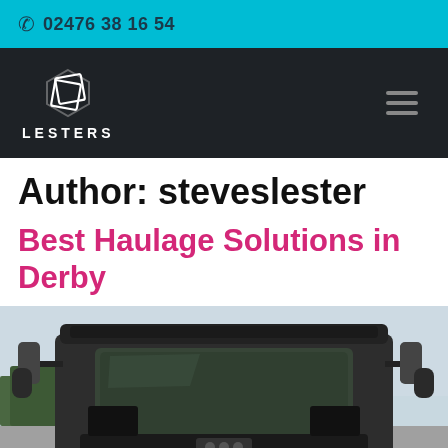📞 02476 38 16 54
[Figure (logo): Lesters company logo: geometric diamond/box icon above text LESTERS in white on dark background, with hamburger menu icon on right]
Author: steveslester
Best Haulage Solutions in Derby
[Figure (photo): Front cab view of a large heavy goods vehicle / truck, dark grey cab with large windscreen, side mirrors visible, photographed from ground level, sky and trees/buildings in background]